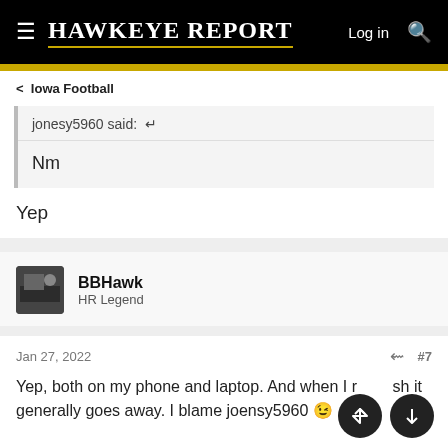Hawkeye Report — Log in
Iowa Football
jonesy5960 said: ↩
Nm
Yep
BBHawk
HR Legend
Jan 27, 2022  #7
Yep, both on my phone and laptop. And when I refresh it generally goes away. I blame joensy5960 😉